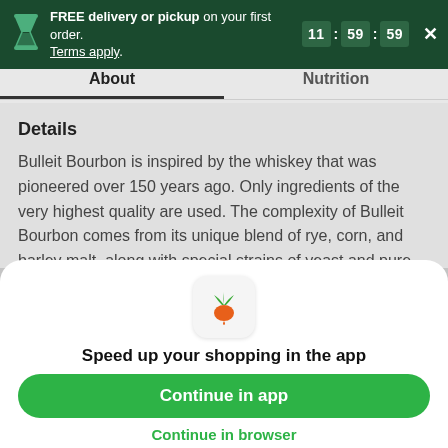FREE delivery or pickup on your first order. Terms apply. 11 : 59 : 59 ×
About | Nutrition
Details
Bulleit Bourbon is inspired by the whiskey that was pioneered over 150 years ago. Only ingredients of the very highest quality are used. The complexity of Bulleit Bourbon comes from its unique blend of rye, corn, and barley malt, along with special strains of yeast and pure Kentucky limestone-filtered water. Due to its especially high rye content, Bulleit Bourbon has a bold, spicy character with a finish that's distinctively clean and
[Figure (logo): Instacart carrot logo icon — green leaves and orange carrot body on a light rounded square background]
Speed up your shopping in the app
Continue in app
Continue in browser